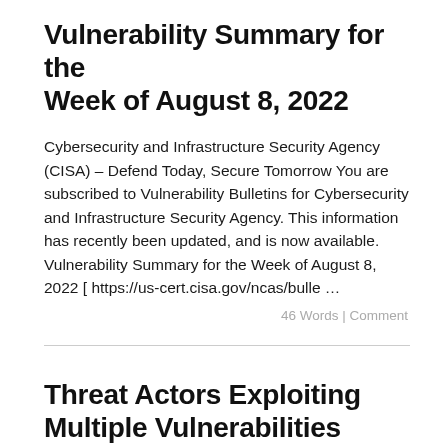Vulnerability Summary for the Week of August 8, 2022
Cybersecurity and Infrastructure Security Agency (CISA) – Defend Today, Secure Tomorrow You are subscribed to Vulnerability Bulletins for Cybersecurity and Infrastructure Security Agency. This information has recently been updated, and is now available. Vulnerability Summary for the Week of August 8, 2022 [ https://us-cert.cisa.gov/ncas/bulle …
46 Words | Comment
Threat Actors Exploiting Multiple Vulnerabilities Against Zimbra Collaboration Suite